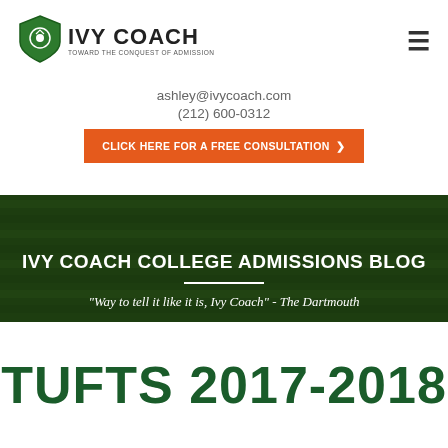[Figure (logo): Ivy Coach logo — green shield icon with 'IVY COACH' text and tagline 'TOWARD THE CONQUEST OF ADMISSION']
ashley@ivycoach.com
(212) 600-0312
CLICK HERE FOR A FREE CONSULTATION ›
[Figure (photo): Aerial photo of ivy-covered university building with manicured lawn, overlaid with dark green tint on lower portion]
IVY COACH COLLEGE ADMISSIONS BLOG
"Way to tell it like it is, Ivy Coach" - The Dartmouth
TUFTS 2017-2018